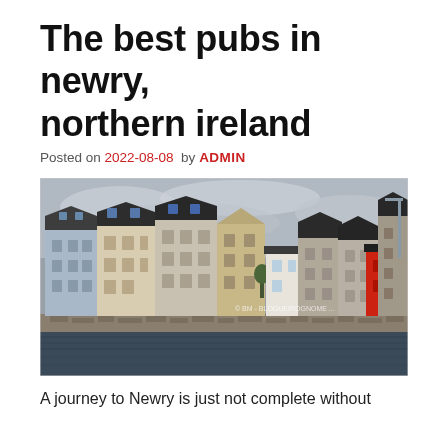The best pubs in newry, northern ireland
Posted on 2022-08-08  by ADMIN
[Figure (photo): Photograph of a row of colourful multi-storey buildings along a waterfront in Ireland, with dark water in the foreground and overcast sky above. Buildings include light blue, cream/beige, grey, white, and red-fronted structures. Cars are parked along the quayside.]
A journey to Newry is just not complete without